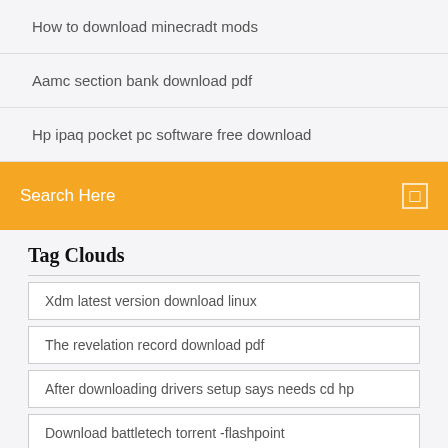How to download minecradt mods
Aamc section bank download pdf
Hp ipaq pocket pc software free download
Search Here
Tag Clouds
Xdm latest version download linux
The revelation record download pdf
After downloading drivers setup says needs cd hp
Download battletech torrent -flashpoint